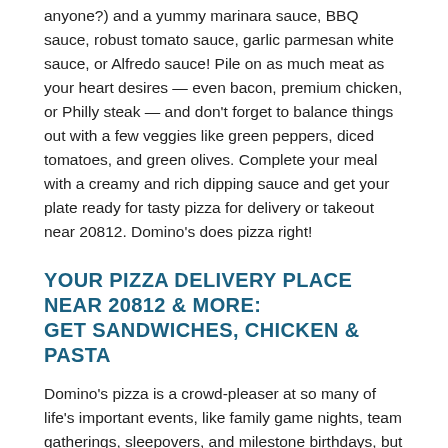anyone?) and a yummy marinara sauce, BBQ sauce, robust tomato sauce, garlic parmesan white sauce, or Alfredo sauce! Pile on as much meat as your heart desires — even bacon, premium chicken, or Philly steak — and don't forget to balance things out with a few veggies like green peppers, diced tomatoes, and green olives. Complete your meal with a creamy and rich dipping sauce and get your plate ready for tasty pizza for delivery or takeout near 20812. Domino's does pizza right!
YOUR PIZZA DELIVERY PLACE NEAR 20812 & MORE: GET SANDWICHES, CHICKEN & PASTA
Domino's pizza is a crowd-pleaser at so many of life's important events, like family game nights, team gatherings, sleepovers, and milestone birthdays, but so are many other foods. And sometimes your tummy grumbles for something different. That's why we also have salads, hot sandwiches, chicken wings, baked pasta, and sweet-tooth approved desserts for takeout and delivery near 20812. Fill your plate with morsels of lightly breaded specialty chicken topped with hot buffalo sauce, or order finger-lickin' chicken wings that you can flavor and dip your way. Enjoy a